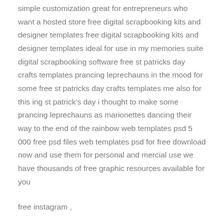shopify themes 7 33 instant e-merce platform with simple customization great for entrepreneurs who want a hosted store free digital scrapbooking kits and designer templates free digital scrapbooking kits and designer templates ideal for use in my memories suite digital scrapbooking software free st patricks day crafts templates prancing leprechauns in the mood for some free st patricks day crafts templates me also for this ing st patrick’s day i thought to make some prancing leprechauns as marionettes dancing their way to the end of the rainbow web templates psd 5 000 free psd files web templates psd for free download now and use them for personal and mercial use we have thousands of free graphic resources available for you
free instagram ,